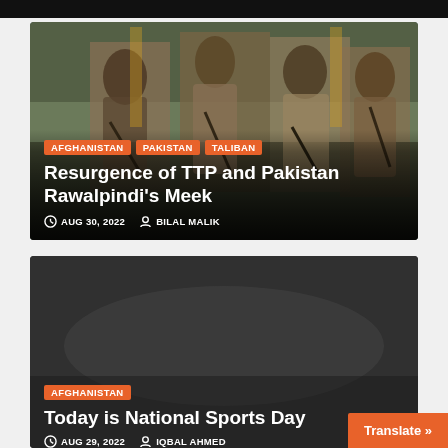[Figure (photo): News article card with photo of armed men in traditional Afghan/Pakistani clothing carrying rifles. Tags: AFGHANISTAN, PAKISTAN, TALIBAN]
Resurgence of TTP and Pakistan Rawalpindi's Meek
AUG 30, 2022   BILAL MALIK
[Figure (photo): News article card with dark/muted background image. Tag: AFGHANISTAN]
Today is National Sports Day
AUG 29, 2022   IQBAL AHMED